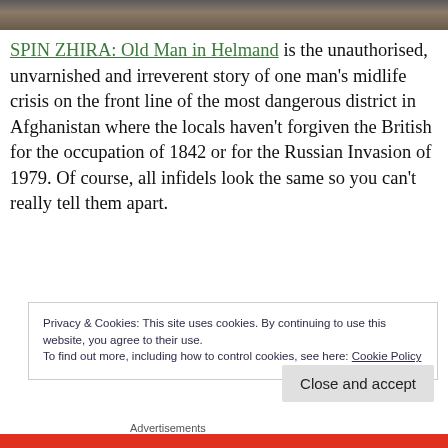[Figure (photo): Partial photograph strip at top of page showing indistinct dark figures]
SPIN ZHIRA: Old Man in Helmand is the unauthorised, unvarnished and irreverent story of one man's midlife crisis on the front line of the most dangerous district in Afghanistan where the locals haven't forgiven the British for the occupation of 1842 or for the Russian Invasion of 1979. Of course, all infidels look the same so you can't really tell them apart.
Privacy & Cookies: This site uses cookies. By continuing to use this website, you agree to their use.
To find out more, including how to control cookies, see here: Cookie Policy
Close and accept
Advertisements